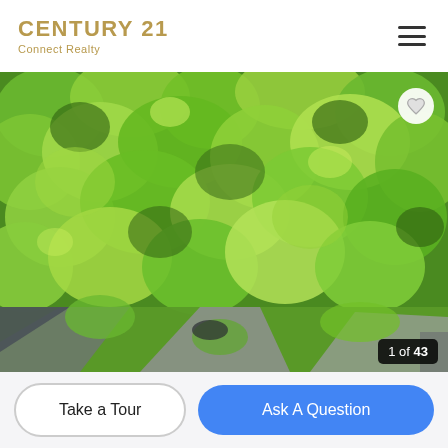[Figure (logo): Century 21 Connect Realty logo with golden/tan text]
[Figure (photo): Aerial drone photograph looking down on a dense green forest canopy with a road and rooftop visible at the bottom]
1 of 43
Take a Tour
Ask A Question